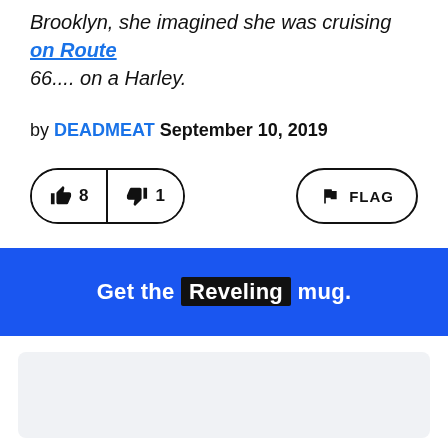Brooklyn, she imagined she was cruising on Route 66.... on a Harley.
by DEADMEAT September 10, 2019
[Figure (other): Thumbs up vote button showing 8 votes and thumbs down vote button showing 1 vote, plus a FLAG button on the right]
Get the Reveling mug.
[Figure (other): Empty light gray advertisement box]